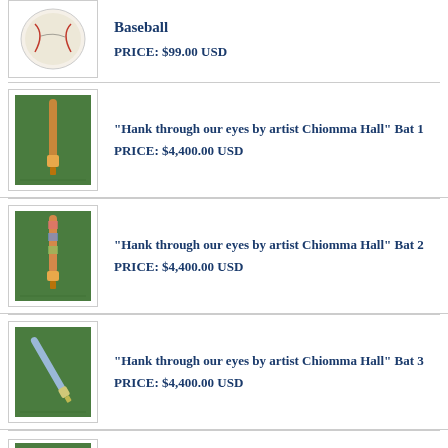[Figure (photo): Signed baseball on green surface, partially visible at top]
Baseball
PRICE: $99.00 USD
[Figure (photo): Baseball bat on green grass surface - Bat 1]
"Hank through our eyes by artist Chiomma Hall" Bat 1
PRICE: $4,400.00 USD
[Figure (photo): Baseball bat on green grass surface - Bat 2]
"Hank through our eyes by artist Chiomma Hall" Bat 2
PRICE: $4,400.00 USD
[Figure (photo): Baseball bat on green grass surface - Bat 3]
"Hank through our eyes by artist Chiomma Hall" Bat 3
PRICE: $4,400.00 USD
[Figure (photo): Partial view of another item at bottom]